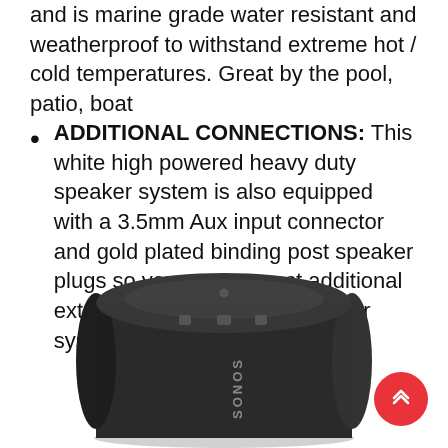and is marine grade water resistant and weatherproof to withstand extreme hot / cold temperatures. Great by the pool, patio, boat
ADDITIONAL CONNECTIONS: This white high powered heavy duty speaker system is also equipped with a 3.5mm Aux input connector and gold plated binding post speaker plugs so you can connect additional external devices to your speaker system
[Figure (photo): Black cylindrical Sonos portable speaker (Sonos Move or similar) viewed from slightly above, showing top controls and mesh grille with SONOS branding on the side.]